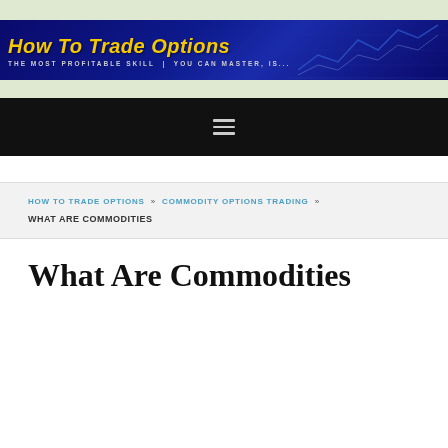How To Trade Options — The Most Profitable Skill | You Can Master, is...
HOW TO TRADE OPTIONS » COMMODITY OPTIONS TRADING » WHAT ARE COMMODITIES
What Are Commodities